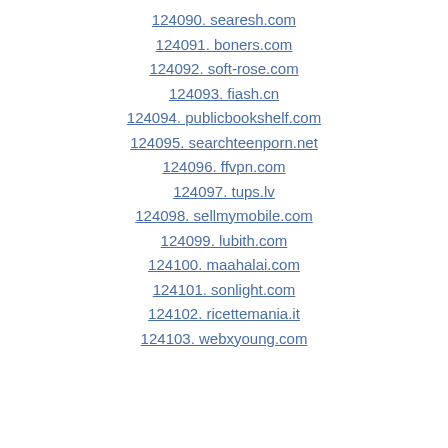124090. searesh.com
124091. boners.com
124092. soft-rose.com
124093. fiash.cn
124094. publicbookshelf.com
124095. searchteenporn.net
124096. ffvpn.com
124097. tups.lv
124098. sellmymobile.com
124099. lubith.com
124100. maahalai.com
124101. sonlight.com
124102. ricettemania.it
124103. webxyoung.com